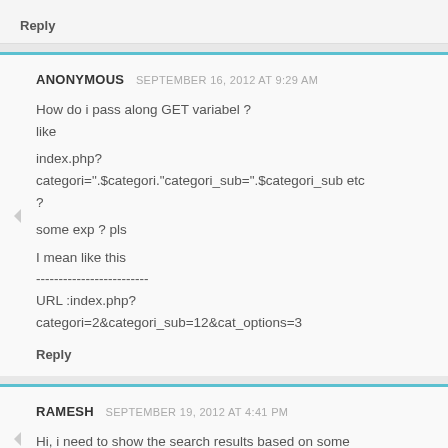Reply
ANONYMOUS  SEPTEMBER 16, 2012 AT 9:29 AM
How do i pass along GET variabel ?
like

index.php?
categori=".$categori."categori_sub=".$categori_sub etc
?

some exp ? pls

I mean like this
-------------------------
URL :index.php?
categori=2&categori_sub=12&cat_options=3
Reply
RAMESH  SEPTEMBER 19, 2012 AT 4:41 PM
Hi, i need to show the search results based on some parameters, can you let me know how i pass those